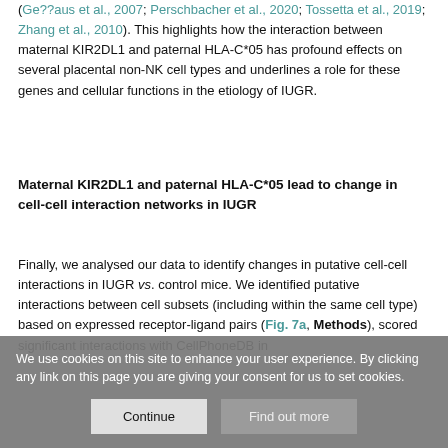(Ge??aus et al., 2007; Perschbacher et al., 2020; Tossetta et al., 2019; Zhang et al., 2010). This highlights how the interaction between maternal KIR2DL1 and paternal HLA-C*05 has profound effects on several placental non-NK cell types and underlines a role for these genes and cellular functions in the etiology of IUGR.
Maternal KIR2DL1 and paternal HLA-C*05 lead to change in cell-cell interaction networks in IUGR
Finally, we analysed our data to identify changes in putative cell-cell interactions in IUGR vs. control mice. We identified putative interactions between cell subsets (including within the same cell type) based on expressed receptor-ligand pairs (Fig. 7a, Methods), scored significant interactions with CellPhoneDB in
We use cookies on this site to enhance your user experience. By clicking any link on this page you are giving your consent for us to set cookies.